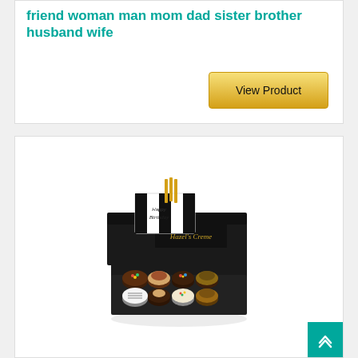friend woman man mom dad sister brother husband wife
View Product
[Figure (photo): A black gift box labeled 'Hazel's Creme' containing assorted chocolate-covered cookies/truffles arranged in a grid. The box lid is propped open showing a 'Happy Birthday' card/decoration with golden forks. The chocolates are decorated with sprinkles, drizzle, and toppings.]